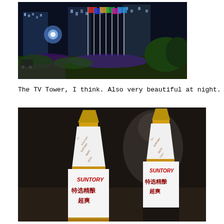[Figure (photo): Night photo of the TV Tower area with flagpoles, illuminated building in background, and landscaped flower beds with hedges in the foreground.]
The TV Tower, I think. Also very beautiful at night.
[Figure (photo): Two Suntory beer bottles (特选精酿 超爽) photographed close up on a dark background, showing the white foil neck wrapping with SUNTORY BEER text and the main label with Chinese characters.]